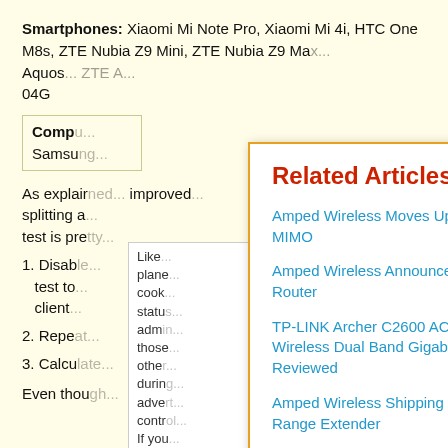Smartphones: Xiaomi Mi Note Pro, Xiaomi Mi 4i, HTC One M8s, ZTE Nubia Z9 Mini, ZTE Nubia Z9 Ma... Aquos... 04G
Comp... Samsu...
As explair... improved... splitting a... test is pre...
1. Disab... test to... client...
2. Repea...
3. Calcu...
Even thou...
Like... plane... cook... statu... adm... thos... othe... durin... adve... contr... If you... you a... cook...
Related Articles
Amped Wireless Moves Up To MU-MIMO
Amped Wireless Announces MU-MIMO Router
TP-LINK Archer C2600 AC 2600 Wireless Dual Band Gigabit Router Reviewed
Amped Wireless Shipping MU-MIMO Range Extender
Linksys EA8500 Max-Stream AC2600 MU-MIMO Smart Wi-Fi Router Reviewed - Part 2